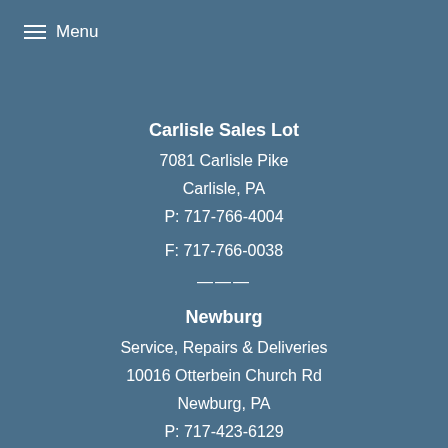Menu
Carlisle Sales Lot
7081 Carlisle Pike
Carlisle, PA
P: 717-766-4004

F: 717-766-0038
—
Newburg
Service, Repairs & Deliveries
10016 Otterbein Church Rd
Newburg, PA
P: 717-423-6129
F: 717-423-5624
Hours
Chambersburg & Carlise Lot
Mon: 9am - 7pm